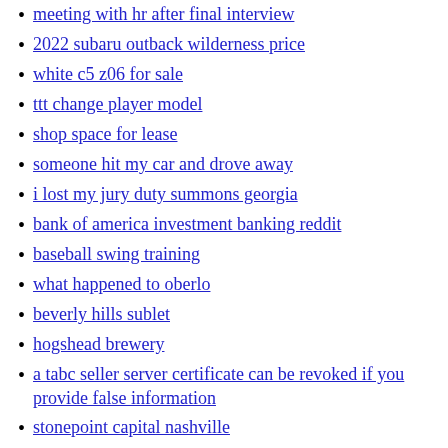meeting with hr after final interview
2022 subaru outback wilderness price
white c5 z06 for sale
ttt change player model
shop space for lease
someone hit my car and drove away
i lost my jury duty summons georgia
bank of america investment banking reddit
baseball swing training
what happened to oberlo
beverly hills sublet
hogshead brewery
a tabc seller server certificate can be revoked if you provide false information
stonepoint capital nashville
how to get custody of child
retro trailers for sale near me
synology the backup service is not running
spafinder gift card
dcfs appeal process
software engineer contract jobs
awuf installation manual
datatable foreach row
psyd programs canada
333 meaning twin flame